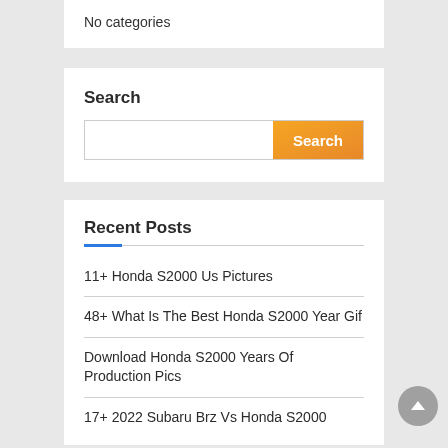No categories
Search
Search
Recent Posts
11+ Honda S2000 Us Pictures
48+ What Is The Best Honda S2000 Year Gif
Download Honda S2000 Years Of Production Pics
17+ 2022 Subaru Brz Vs Honda S2000